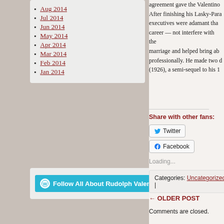Aug 2014
Jul 2014
Jun 2014
May 2014
Apr 2014
Mar 2014
Feb 2014
Jan 2014
[Figure (other): Follow All About Rudolph Valenti... WordPress follow button in cyan]
agreement gave the Valentino... After finishing his Lasky-Para... executives were adamant tha... career — not interfere with the... marriage and helped bring ab... professionally. He made two d... (1926), a semi-sequel to his 1...
Share with other fans:
[Figure (other): Twitter and Facebook share buttons]
Loading...
Categories: Uncategorized |
← OLDER POST
Comments are closed.